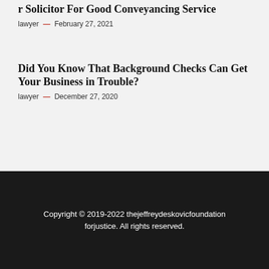It Is Important to Opt for a Reputed Company or Solicitor For Good Conveyancing Service
lawyer — February 27, 2021
Did You Know That Background Checks Can Get Your Business in Trouble?
lawyer — December 27, 2020
Copyright © 2019-2022 thejeffreydeskovicfoundationforjustice. All rights reserved.